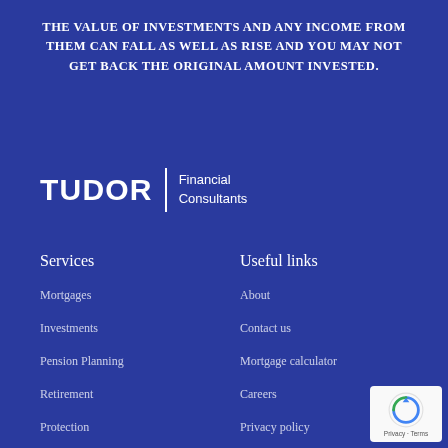THE VALUE OF INVESTMENTS AND ANY INCOME FROM THEM CAN FALL AS WELL AS RISE AND YOU MAY NOT GET BACK THE ORIGINAL AMOUNT INVESTED.
[Figure (logo): Tudor Financial Consultants logo: bold TUDOR text, vertical divider, and 'Financial Consultants' text on dark blue background]
Services
Useful links
Mortgages
About
Investments
Contact us
Pension Planning
Mortgage calculator
Retirement
Careers
Protection
Privacy policy